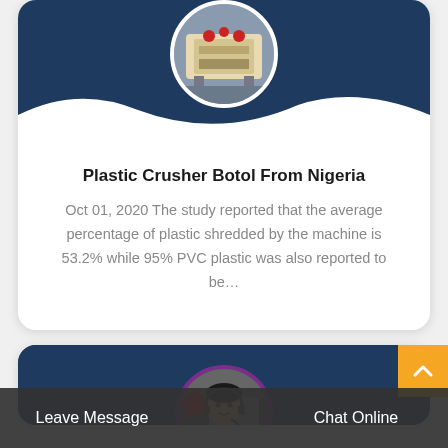[Figure (photo): Circular photo of industrial plastic crusher/jaw crusher machine, shown at top center of card with white circular border, against dark navy background]
Plastic Crusher Botol From Nigeria
Oct 01, 2020 The study reported that the average percentage of plastic shredded by the machine is 53.2% while 95% PVC plastic was also reported to be…
[Figure (photo): Circular photo of a female customer service representative wearing a headset, with industrial machinery visible in background, shown partially at bottom of page]
[Figure (other): Yellow back-to-top button with upward chevron arrow, positioned at right side]